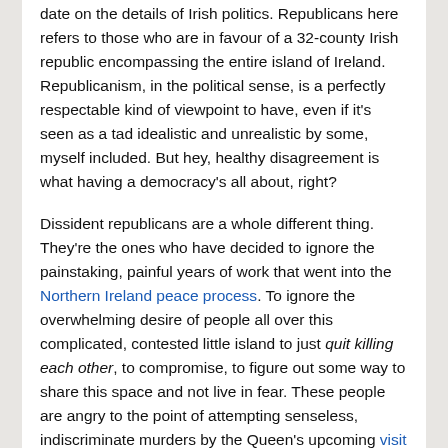date on the details of Irish politics. Republicans here refers to those who are in favour of a 32-county Irish republic encompassing the entire island of Ireland. Republicanism, in the political sense, is a perfectly respectable kind of viewpoint to have, even if it's seen as a tad idealistic and unrealistic by some, myself included. But hey, healthy disagreement is what having a democracy's all about, right?
Dissident republicans are a whole different thing. They're the ones who have decided to ignore the painstaking, painful years of work that went into the Northern Ireland peace process. To ignore the overwhelming desire of people all over this complicated, contested little island to just quit killing each other, to compromise, to figure out some way to share this space and not live in fear. These people are angry to the point of attempting senseless, indiscriminate murders by the Queen's upcoming visit to Ireland.